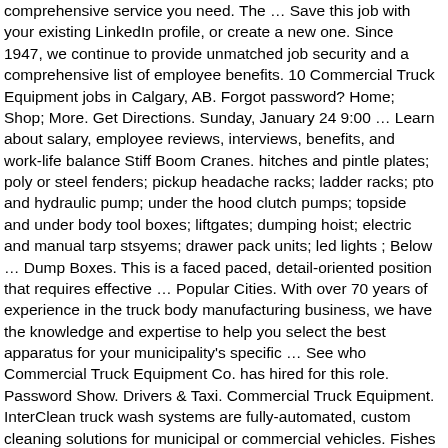comprehensive service you need. The … Save this job with your existing LinkedIn profile, or create a new one. Since 1947, we continue to provide unmatched job security and a comprehensive list of employee benefits. 10 Commercial Truck Equipment jobs in Calgary, AB. Forgot password? Home; Shop; More. Get Directions. Sunday, January 24 9:00 … Learn about salary, employee reviews, interviews, benefits, and work-life balance Stiff Boom Cranes. hitches and pintle plates; poly or steel fenders; pickup headache racks; ladder racks; pto and hydraulic pump; under the hood clutch pumps; topside and under body tool boxes; liftgates; dumping hoist; electric and manual tarp stsyems; drawer pack units; led lights ; Below … Dump Boxes. This is a faced paced, detail-oriented position that requires effective … Popular Cities. With over 70 years of experience in the truck body manufacturing business, we have the knowledge and expertise to help you select the best apparatus for your municipality's specific … See who Commercial Truck Equipment Co. has hired for this role. Password Show. Drivers & Taxi. Commercial Truck Equipment. InterClean truck wash systems are fully-automated, custom cleaning solutions for municipal or commercial vehicles. Fishes & Aquarium. You will be required to interpret parts manuals and source parts via... Overview: To